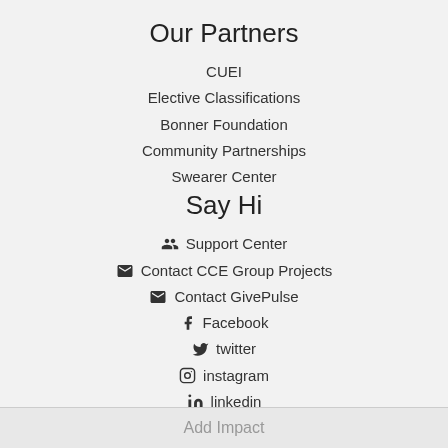Our Partners
CUEI
Elective Classifications
Bonner Foundation
Community Partnerships
Swearer Center
Say Hi
Support Center
Contact CCE Group Projects
Contact GivePulse
Facebook
twitter
instagram
linkedin
Add Impact